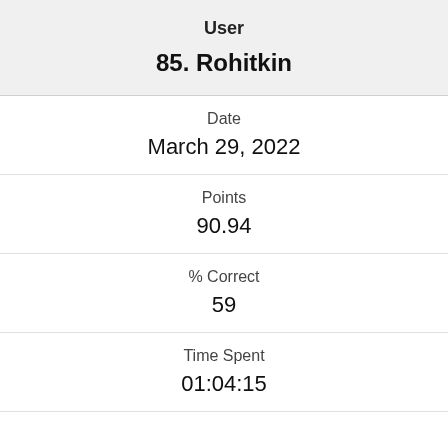User
85. Rohitkin
Date
March 29, 2022
Points
90.94
% Correct
59
Time Spent
01:04:15